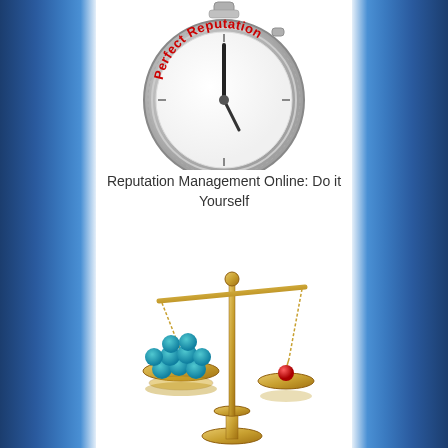[Figure (illustration): A stopwatch/clock face with 'Perfect Reputation' text written in red arc across the dial, with clock hands pointing roughly to 12 o'clock, gray metallic casing.]
Reputation Management Online: Do it Yourself
[Figure (illustration): A gold balance scale tilted to the left side, with multiple teal/turquoise spheres on the left pan outweighing a single small red sphere on the right pan.]
Managing Your Plugins: Less is More